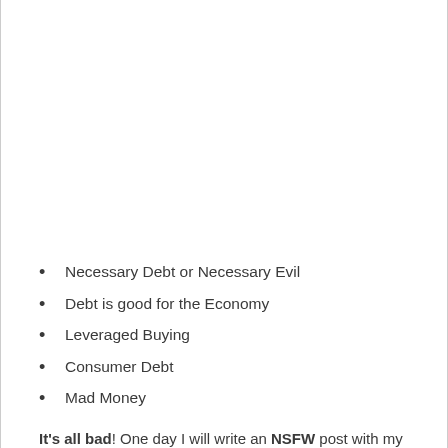Necessary Debt or Necessary Evil
Debt is good for the Economy
Leveraged Buying
Consumer Debt
Mad Money
It's all bad! One day I will write an NSFW post with my actual wording on this stuff (maybe Preet will let me back on his Podcast and I can do the real rant for this). Good debt? No and anyone who says otherwise is trying to sell